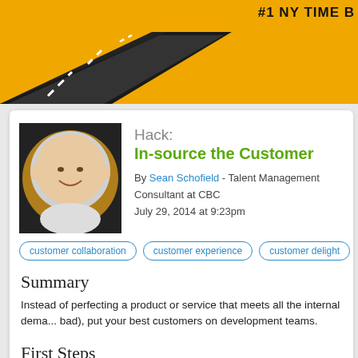[Figure (illustration): Top banner with yellow/orange background showing a road illustration and partial text '#1 NY TIME B...' in top right corner]
[Figure (photo): Profile photo of Sean Schofield, a bald smiling man, displayed in a circular frame with a gold/brown ring border against a dark background]
Hack: In-source the Customer
By Sean Schofield - Talent Management Consultant at CBC
July 29, 2014 at 9:23pm
customer collaboration
customer experience
customer delight
Summary
Instead of perfecting a product or service that meets all the internal dema... bad), put your best customers on development teams.
First Steps